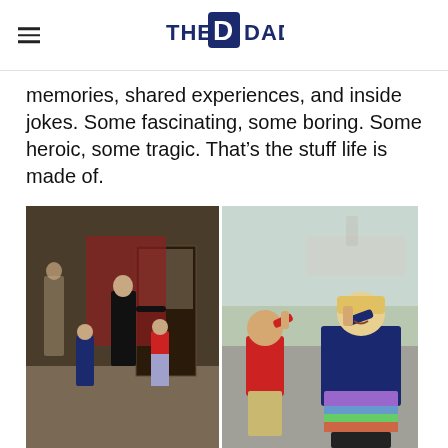THE DAD
memories, shared experiences, and inside jokes. Some fascinating, some boring. Some heroic, some tragic. That’s the stuff life is made of.
[Figure (photo): Two side-by-side photos: left photo shows an older man pointing at a museum display case with two young children watching; right photo shows a young boy and girl saluting outdoors near aircraft.]
WRIGHT PATTERSON AIR FORCE MUSEUM, MARCH 12, 2016